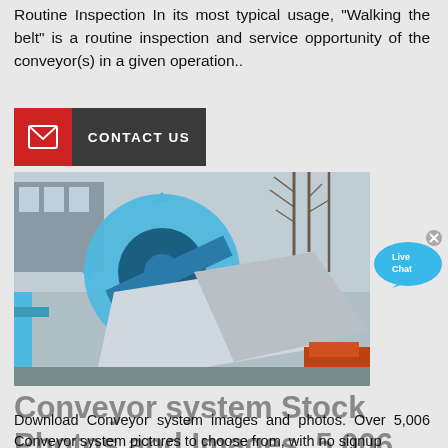Routine Inspection In its most typical usage, "Walking the belt" is a routine inspection and service opportunity of the conveyor(s) in a given operation..
[Figure (other): Contact Us button with red mail icon on left and dark grey label on right]
[Figure (photo): Industrial conveyor system with large blue gear/wheel mechanism and metal chute, outdoors with bare trees in background]
[Figure (other): Live Chat speech bubble button in blue]
Conveyor system Stock Photos and Images. 5,006 ...
Download Conveyor system images and photos. Over 5,006 Conveyor system pictures to choose from, with no signup